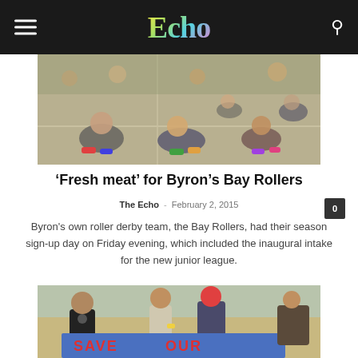Echo
[Figure (photo): Children and roller derby participants sitting on an indoor sports court floor, wearing roller skates, shot from above.]
'Fresh meat' for Byron's Bay Rollers
The Echo - February 2, 2015
Byron's own roller derby team, the Bay Rollers, had their season sign-up day on Friday evening, which included the inaugural intake for the new junior league.
[Figure (photo): Two children and an adult in outdoor setting with a blue banner reading 'SAVE OUR ...' in red letters.]